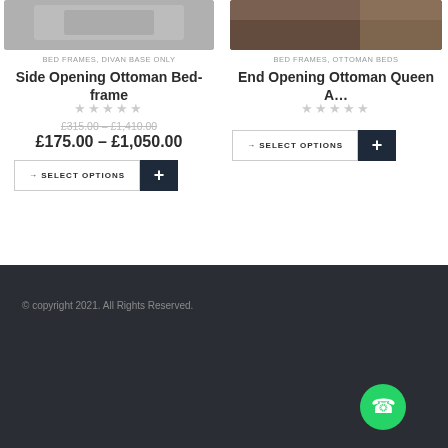[Figure (photo): Top portion of a grey fabric ottoman bed frame product photo]
[Figure (photo): Top portion of a dark ottoman bed with wooden floor background]
BED FRAMES, DIVAN BASE ONLY
BED FRAMES, OTTOMAN BEDS
Side Opening Ottoman Bed-frame
End Opening Ottoman Queen A…
★★★★★
★★★★★
£315.00 – £1,410.00
£175.00 – £1,050.00
→ SELECT OPTIONS
→ SELECT OPTIONS
© copyright 2021. All Rights Reserved.
[Figure (illustration): WhatsApp floating button icon (green circle with WhatsApp logo)]